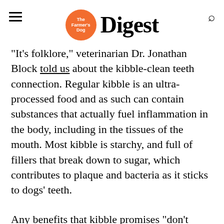The Farmer's Dog — Digest
"It's folklore," veterinarian Dr. Jonathan Block told us about the kibble-clean teeth connection. Regular kibble is an ultra-processed food and as such can contain substances that actually fuel inflammation in the body, including in the tissues of the mouth. Most kibble is starchy, and full of fillers that break down to sugar, which contributes to plaque and bacteria as it sticks to dogs' teeth.
Any benefits that kibble promises "don't justify the other health consequences that